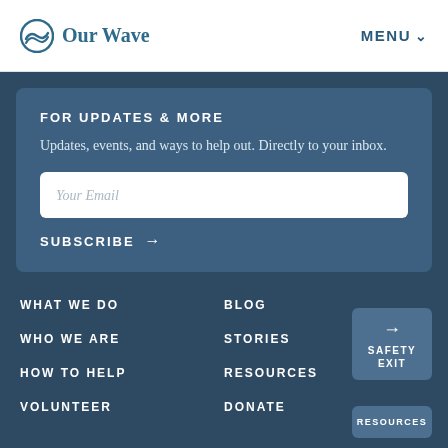Our Wave | MENU
FOR UPDATES & MORE
Updates, events, and ways to help out. Directly to your inbox.
Your Email
SUBSCRIBE →
WHAT WE DO
WHO WE ARE
HOW TO HELP
VOLUNTEER
BLOG
STORIES
RESOURCES
DONATE
→ SAFETY EXIT
RESOURCES